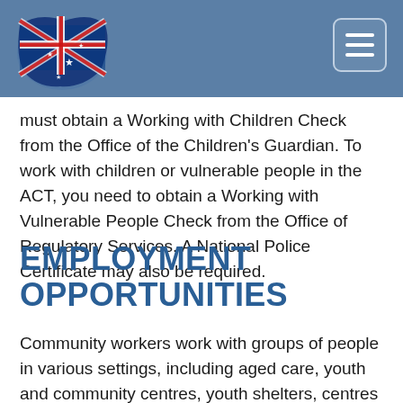Australian government page header with flag logo and navigation menu button
must obtain a Working with Children Check from the Office of the Children's Guardian. To work with children or vulnerable people in the ACT, you need to obtain a Working with Vulnerable People Check from the Office of Regulatory Services. A National Police Certificate may also be required.
EMPLOYMENT OPPORTUNITIES
Community workers work with groups of people in various settings, including aged care, youth and community centres, youth shelters, centres for people with disability, and Aboriginal communities.